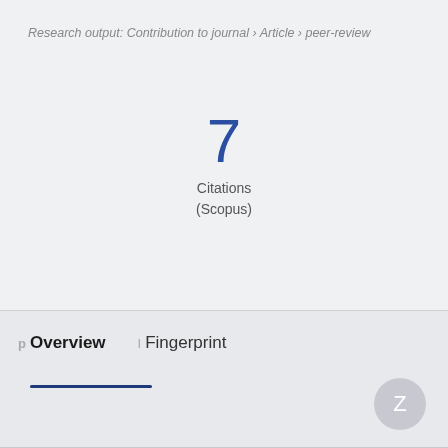Research output: Contribution to journal › Article › peer-review
7
Citations
(Scopus)
p Overview   I Fingerprint